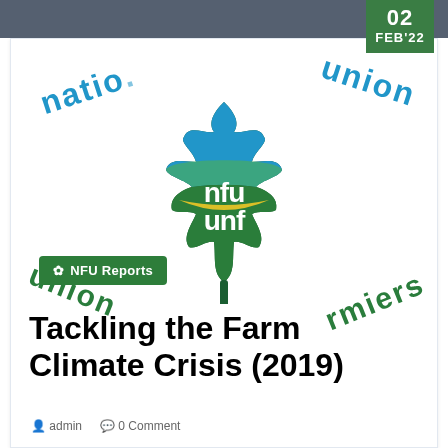[Figure (logo): NFU (National Farmers Union / Union Nationale des Fermiers) logo — a maple leaf design in blue, green, and yellow with 'nfu unf' text, surrounded by circular arc text reading 'national union / union des fermiers']
NFU Reports
Tackling the Farm Climate Crisis (2019)
admin   0 Comment